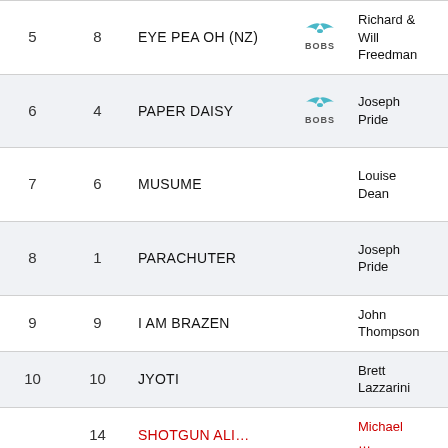| # | No. | Horse | Logo | Trainer | Jockey |
| --- | --- | --- | --- | --- | --- |
| 5 | 8 | EYE PEA OH (NZ) | BOBS | Richard & Will Freedman | Willia Pike |
| 6 | 4 | PAPER DAISY | BOBS | Joseph Pride | Tyler Schill (a2/5… |
| 7 | 6 | MUSUME |  | Louise Dean | Tom Sherr (a1.5… |
| 8 | 1 | PARACHUTER |  | Joseph Pride | Patric Scors (a3/5… |
| 9 | 9 | I AM BRAZEN |  | John Thompson | Joshu Parr |
| 10 | 10 | JYOTI |  | Brett Lazzarini | Brock Ryan |
| 14 |  | SHOTGUN ALI... |  | Michael ... | Chad ... |